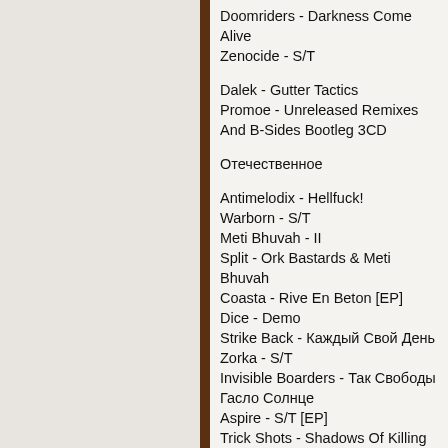Doomriders - Darkness Come Alive
Zenocide - S/T
Dalek - Gutter Tactics
Promoe - Unreleased Remixes And B-Sides Bootleg 3CD
Отечественное
Antimelodix - Hellfuck!
Warborn - S/T
Meti Bhuvah - II
Split - Ork Bastards & Meti Bhuvah
Coasta - Rive En Beton [EP]
Dice - Demo
Strike Back - Каждый Свой День
Zorka - S/T
Invisible Boarders - Так Свободы Гасло Солнце
Aspire - S/T [EP]
Trick Shots - Shadows Of Killing Time
Louder Than Words - Unholy Punk-Rock
Split - Totoro & Optimus